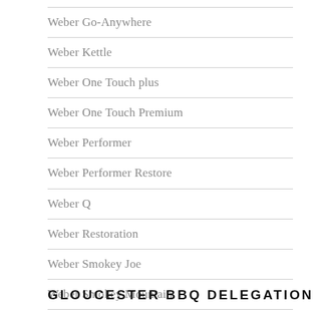Weber Go-Anywhere
Weber Kettle
Weber One Touch plus
Weber One Touch Premium
Weber Performer
Weber Performer Restore
Weber Q
Weber Restoration
Weber Smokey Joe
Weber Smokey Mountain
GLOUCESTER BBQ DELEGATION